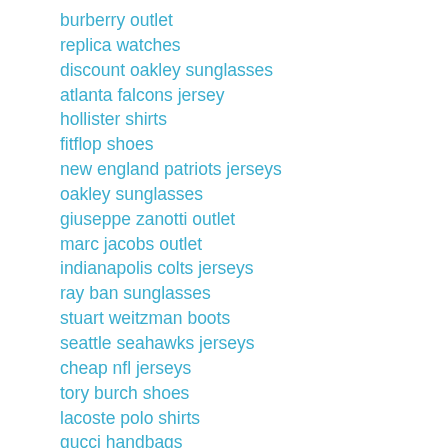burberry outlet
replica watches
discount oakley sunglasses
atlanta falcons jersey
hollister shirts
fitflop shoes
new england patriots jerseys
oakley sunglasses
giuseppe zanotti outlet
marc jacobs outlet
indianapolis colts jerseys
ray ban sunglasses
stuart weitzman boots
seattle seahawks jerseys
cheap nfl jerseys
tory burch shoes
lacoste polo shirts
gucci handbags
tory burch outlet online
coach outlet
prada handbags
oakley sunglasses